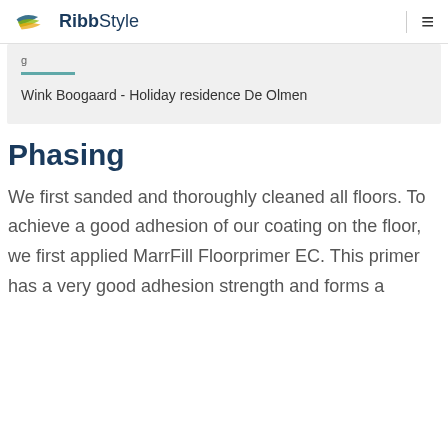RibbStyle
Wink Boogaard - Holiday residence De Olmen
Phasing
We first sanded and thoroughly cleaned all floors. To achieve a good adhesion of our coating on the floor, we first applied MarrFill Floorprimer EC. This primer has a very good adhesion strength and forms a